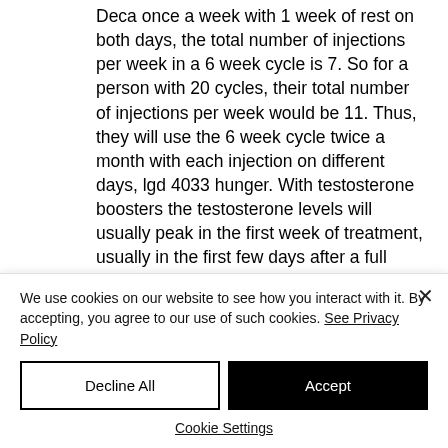Deca once a week with 1 week of rest on both days, the total number of injections per week in a 6 week cycle is 7. So for a person with 20 cycles, their total number of injections per week would be 11. Thus, they will use the 6 week cycle twice a month with each injection on different days, lgd 4033 hunger. With testosterone boosters the testosterone levels will usually peak in the first week of treatment, usually in the first few days after a full cycle and then gradually
We use cookies on our website to see how you interact with it. By accepting, you agree to our use of such cookies. See Privacy Policy